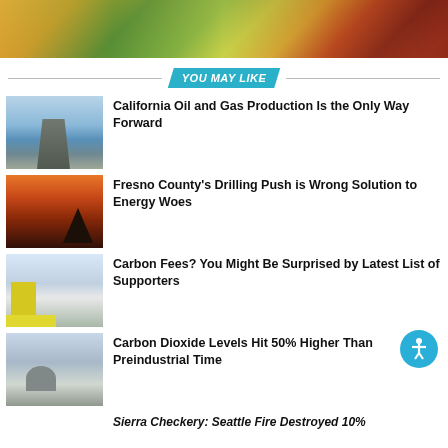[Figure (photo): Aerial view of colorful urban buildings and street scene]
YOU MAY LIKE
[Figure (photo): Oil rig workers on platform]
California Oil and Gas Production Is the Only Way Forward
[Figure (photo): Oil pumpjack silhouette at sunset]
Fresno County's Drilling Push is Wrong Solution to Energy Woes
[Figure (photo): Shell gas station with price signs]
Carbon Fees? You Might Be Surprised by Latest List of Supporters
[Figure (photo): Observatory building]
Carbon Dioxide Levels Hit 50% Higher Than Preindustrial Time
[Figure (photo): Forest or vegetation scene]
Sierra Checkery: Seattle Fire Destroyed 10%